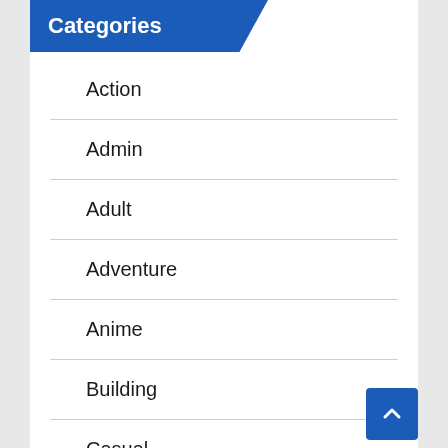Categories
Action
Admin
Adult
Adventure
Anime
Building
Casual
Download VR Games Torrent